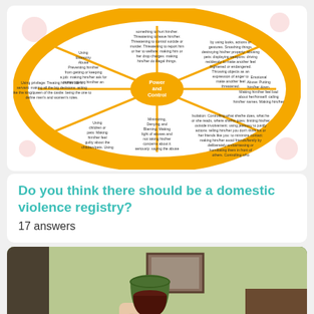[Figure (infographic): Duluth Model Power and Control Wheel showing types of domestic abuse: Using Economic Abuse, Using Coercion and Threats, Using Intimidation, Emotional Abuse, Using Male Privilege, Using Isolation, Using Children, Minimizing/Denying/Blaming, with Power and Control at the center. Orange wheel on white background with floral decorations.]
Do you think there should be a domestic violence registry?
17 answers
[Figure (photo): A hand holding a green glass goblet filled with dark red wine, with a framed picture and bookcase visible in the background.]